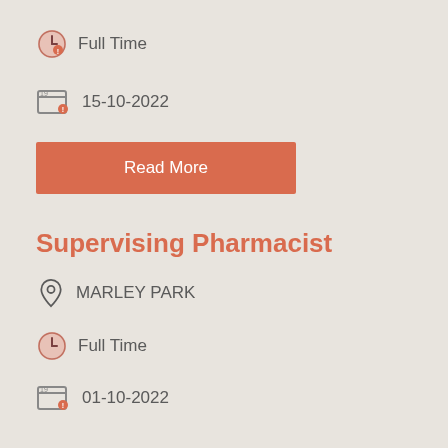Full Time
15-10-2022
Read More
Supervising Pharmacist
MARLEY PARK
Full Time
01-10-2022
Read More
Floating Pharmacist
North Dublin